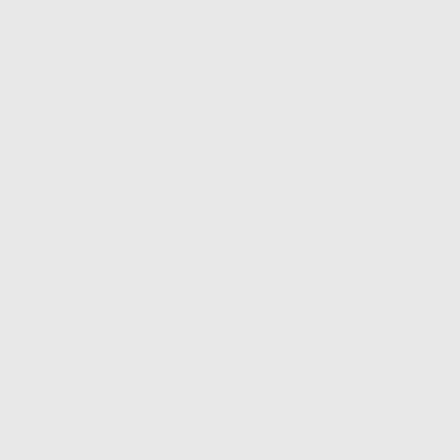form sure that their clients are promoted in the absolute best manner.
24. Didim Tesisatçı Says: April 20th, 2022 at 7:19 am
En Tecrübeli Didim Tesisatçı için sit... edebilirsiniz.
25. آذی فروت Says: April 20th, 2022 at 7:43 am
[Persian text about dried fruit]
26. Chetorie Says: April 20th, 2022 at 8:33 am
Thanks for sharing such informative...
27. Yellowwallmedia Says: April 20th, 2022 at 9:14 am